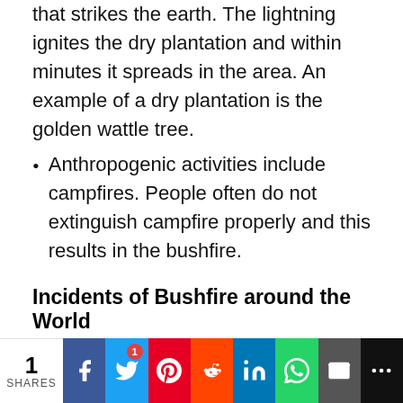that strikes the earth. The lightning ignites the dry plantation and within minutes it spreads in the area. An example of a dry plantation is the golden wattle tree.
Anthropogenic activities include campfires. People often do not extinguish campfire properly and this results in the bushfire.
Incidents of Bushfire around the World
Many incidents of bushfires have been reported last year. Some of them are mentioned below.
Black summer in Australia is one of the incidents of bushfires that started in 2019 and ended in
1 SHARES  [Facebook] [Twitter] [Pinterest] [Reddit] [LinkedIn] [WhatsApp] [Email] [More]